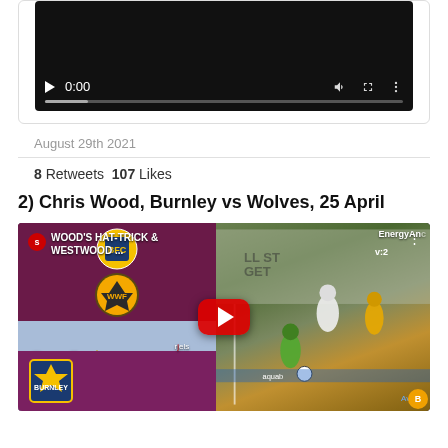[Figure (screenshot): Video player with black background showing 0:00 timestamp and playback controls including play button, volume, fullscreen, and more options. Progress bar at bottom.]
August 29th 2021
8 Retweets  107 Likes
2) Chris Wood, Burnley vs Wolves, 25 April
[Figure (screenshot): YouTube video thumbnail showing Burnley vs Wolves match. Left side shows club crests (Burnley on top, Wolves below) on dark maroon background, with score 0-4 and Premier League logo below. Right side shows match action photo with players. Video title overlay reads: WOOD'S HAT-TRICK & WESTWOOD ... with EnergyAnc branding. Red YouTube play button in center.]